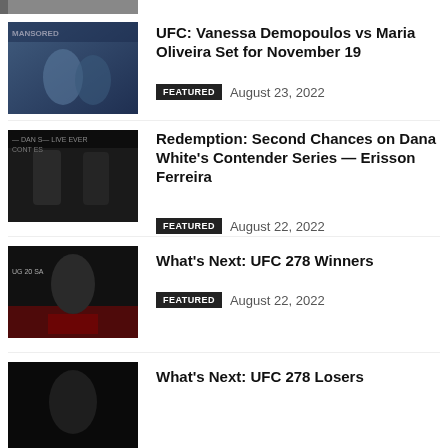[Figure (photo): Partial view of a UFC fight photo at top of page]
UFC: Vanessa Demopoulos vs Maria Oliveira Set for November 19
FEATURED   August 23, 2022
[Figure (photo): Two fighters facing off on the Dana White Contender Series stage]
Redemption: Second Chances on Dana White's Contender Series — Erisson Ferreira
FEATURED   August 22, 2022
[Figure (photo): UFC 278 fighter posing at weigh-ins]
What's Next: UFC 278 Winners
FEATURED   August 22, 2022
[Figure (photo): Partial view of UFC 278 fighter photo at bottom]
What's Next: UFC 278 Losers